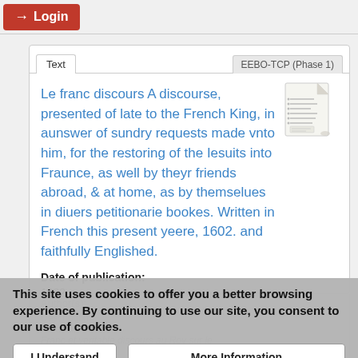Login
Text | EEBO-TCP (Phase 1)
Le franc discours A discourse, presented of late to the French King, in aunswer of sundry requests made vnto him, for the restoring of the Iesuits into Fraunce, as well by theyr friends abroad, & at home, as by themselues in diuers petitionarie bookes. Written in French this present yeere, 1602. and faithfully Englished.
Date of publication:
1602
Author(s):
This site uses cookies to offer you a better browsing experience. By continuing to use our site, you consent to our use of cookies.
I Understand
More Information
Franc et veritable discours au Roy sur le